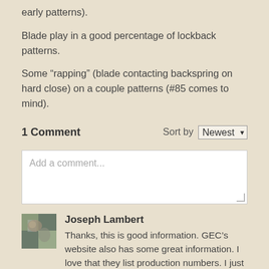early patterns).
Blade play in a good percentage of lockback patterns.
Some “rapping” (blade contacting backspring on hard close) on a couple patterns (#85 comes to mind).
1 Comment
Sort by Newest
Add a comment...
Joseph Lambert
Thanks, this is good information. GEC’s website also has some great information. I love that they list production numbers. I just got a Northfield 351217 Green Banana Bone and I’m looking forward to seeing how many were